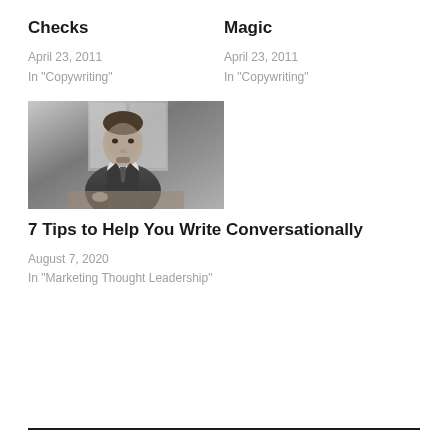Checks
April 23, 2011
In "Copywriting"
Magic
April 23, 2011
In "Copywriting"
[Figure (photo): Black and white photo of a man in a suit sitting at a desk, writing or reading]
7 Tips to Help You Write Conversationally
August 7, 2020
In "Marketing Thought Leadership"